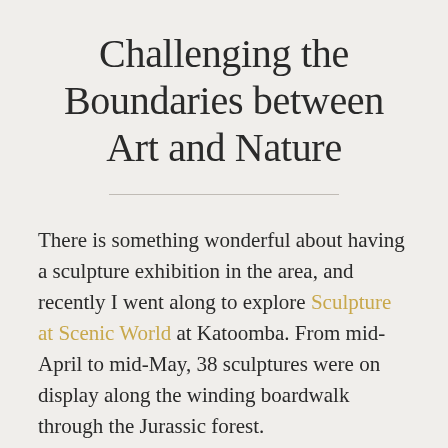Challenging the Boundaries between Art and Nature
There is something wonderful about having a sculpture exhibition in the area, and recently I went along to explore Sculpture at Scenic World at Katoomba. From mid-April to mid-May, 38 sculptures were on display along the winding boardwalk through the Jurassic forest.